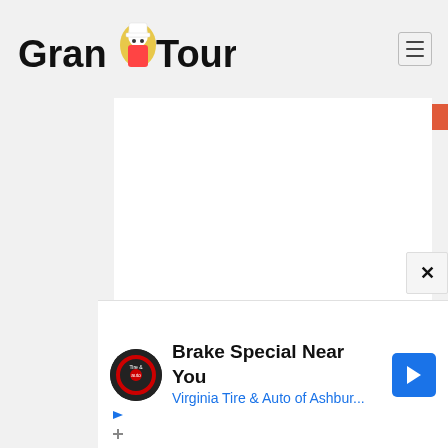[Figure (logo): Grand Tour website logo with chef mascot character between 'Grand' and 'Tour' text]
[Figure (infographic): Row of five social share buttons: Facebook (blue), Twitter (light blue), Email (gray), Pinterest (red), and one more (orange-red)]
[Figure (screenshot): Main white content area of a webpage]
[Figure (infographic): Close (X) button at bottom right of content overlay]
[Figure (infographic): Advertisement banner: Brake Special Near You - Virginia Tire & Auto of Ashbur... with tire and auto logo and blue navigation arrow icon]